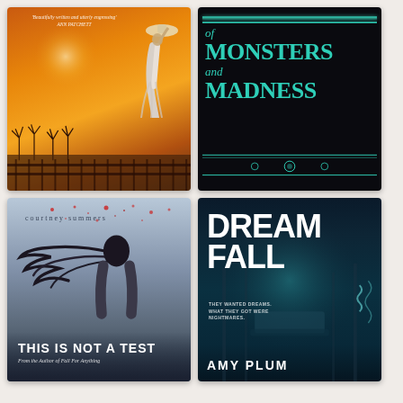[Figure (illustration): Book cover: warm sunset/orange tones with a woman in white dress holding a hat, silhouetted against an orange sky with trees and fence. Quote: 'Beautifully written and utterly engrossing' ANN PATCHETT]
[Figure (illustration): Book cover: 'Of Monsters and Madness' - dark black background with teal/turquoise gothic title text, decorative borders and ornaments]
[Figure (illustration): Book cover: 'This Is Not a Test' by Courtney Summers - blue-grey tones with a girl with dark hair blowing in wind, red splatter dots at top, bold white title at bottom. 'From the Author of Fall For Anything']
[Figure (illustration): Book cover: 'Dreamfall' by Amy Plum - dark teal/blue tones with glowing hospital beds in a misty forest setting. Tagline: 'They wanted dreams. What they got were nightmares.' Bold white title, author name at bottom]